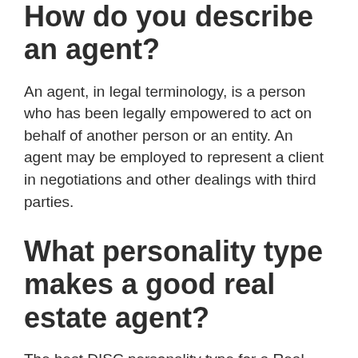How do you describe an agent?
An agent, in legal terminology, is a person who has been legally empowered to act on behalf of another person or an entity. An agent may be employed to represent a client in negotiations and other dealings with third parties.
What personality type makes a good real estate agent?
The best DISC personality type for a Real Estate Agent would be: D – Moderately Dominant, decisive and persistent without being overly dominant. Highly flexible, and